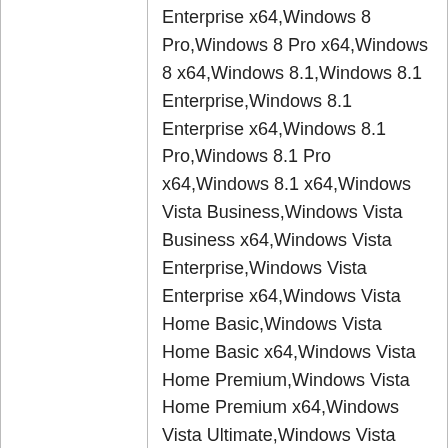|  | Enterprise x64,Windows 8 Pro,Windows 8 Pro x64,Windows 8 x64,Windows 8.1,Windows 8.1 Enterprise,Windows 8.1 Enterprise x64,Windows 8.1 Pro,Windows 8.1 Pro x64,Windows 8.1 x64,Windows Vista Business,Windows Vista Business x64,Windows Vista Enterprise,Windows Vista Enterprise x64,Windows Vista Home Basic,Windows Vista Home Basic x64,Windows Vista Home Premium,Windows Vista Home Premium x64,Windows Vista Ultimate,Windows Vista Ultimate x64,Windows XP Home,Windows XP Home x64,Windows XP Professional,Windows XP Professional x64 |
| Linux | Ubuntu 14.04,Ubuntu 16.04 |